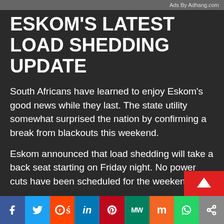Ads By Adhang.com
ESKOM'S LATEST LOAD SHEDDING UPDATE
South Africans have learned to enjoy Eskom's good news while they last. The state utility somewhat surprised the nation by confirming a break from blackouts this weekend.
Eskom announced that load shedding will take a back seat starting on Friday night. No power cuts have been scheduled for the weekend.
The energy supplier said after several of its generation units returned to service towards the end of this week at Kendal, Camden and Groot